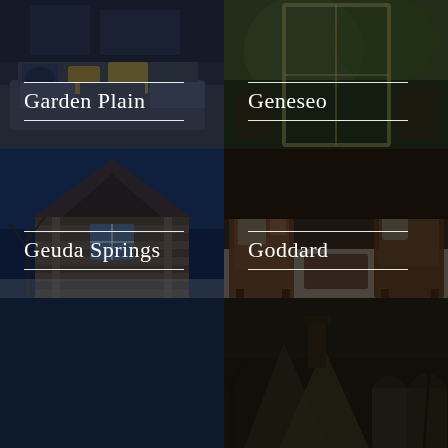[Figure (photo): Interior living room scene with sofa and colorful pillows, dark overlay with city/interior background for Garden Plain listing]
Garden Plain
[Figure (photo): Interior scene with window and outdoor greenery visible, dark overlay for Geneseo listing]
Geneseo
[Figure (photo): Exterior of craftsman-style house with brown/dark siding, blue sky background, dark overlay for Geuda Springs listing]
Geuda Springs
[Figure (photo): Interior living room with wooden chairs and patterned pillows, dark overlay for Goddard listing]
Goddard
[Figure (photo): Dark navy/solid dark blue background for unnamed listing]
[Figure (photo): Exterior rooftop/house with stone or brick facade, dark overlay]